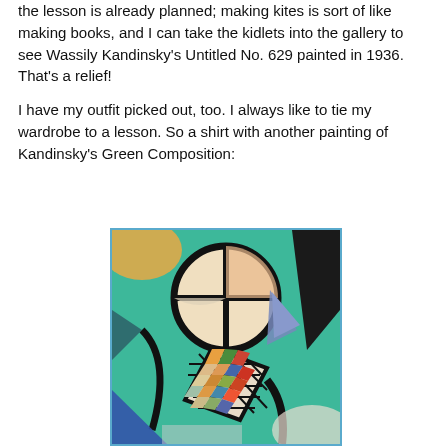the lesson is already planned; making kites is sort of like making books, and I can take the kidlets into the gallery to see Wassily Kandinsky's Untitled No. 629 painted in 1936. That's a relief!

I have my outfit picked out, too. I always like to tie my wardrobe to a lesson. So a shirt with another painting of Kandinsky's Green Composition:
[Figure (photo): A close-up photograph of a shirt featuring Kandinsky's Green Composition painting — abstract art with a large black-outlined circle divided into quarters, a diamond/rhombus grid of colorful squares, triangular shapes, curved black lines, and a predominantly teal/green background with orange, yellow, blue, and red accents.]